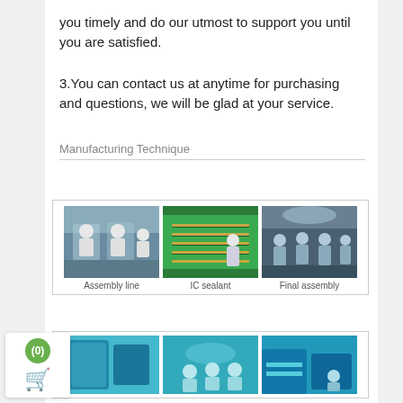you timely and do our utmost to support you until you are satisfied.
3.You can contact us at anytime for purchasing and questions, we will be glad at your service.
Manufacturing Technique
[Figure (photo): Three manufacturing photos: Assembly line (workers in white cleanroom suits at tables), IC sealant (green conveyor with components), Final assembly (workers in blue cleanroom)]
Assembly line   IC sealant   Final assembly
[Figure (photo): Three more manufacturing photos with teal/blue tones showing machinery and cleanroom workers]